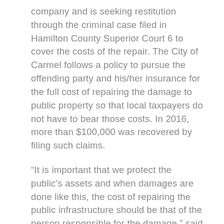company and is seeking restitution through the criminal case filed in Hamilton County Superior Court 6 to cover the costs of the repair. The City of Carmel follows a policy to pursue the offending party and his/her insurance for the full cost of repairing the damage to public property so that local taxpayers do not have to bear those costs. In 2016, more than $100,000 was recovered by filing such claims.
“It is important that we protect the public’s assets and when damages are done like this, the cost of repairing the public infrastructure should be that of the person responsible for the damage,” said Mayor Jim Brainard. According to police, the accident